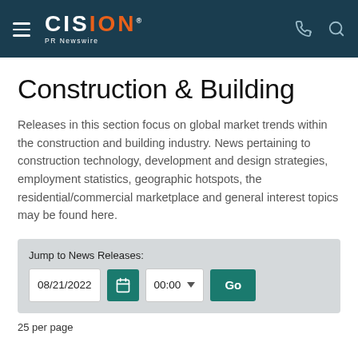CISION PR Newswire
Construction & Building
Releases in this section focus on global market trends within the construction and building industry. News pertaining to construction technology, development and design strategies, employment statistics, geographic hotspots, the residential/commercial marketplace and general interest topics may be found here.
Jump to News Releases: 08/21/2022 00:00 Go
25 per page